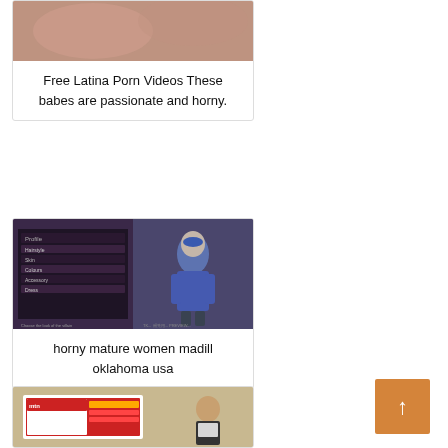[Figure (photo): Thumbnail image - skin tones, partial view of person, card 1]
Free Latina Porn Videos These babes are passionate and horny.
[Figure (screenshot): Screenshot of a video game character creation screen with a blue-costumed female character]
horny mature women madill oklahoma usa
[Figure (photo): Photo of a man in a suit presenting in front of a large display screen showing a website/app interface]
[Figure (other): Orange back-to-top button with upward arrow]